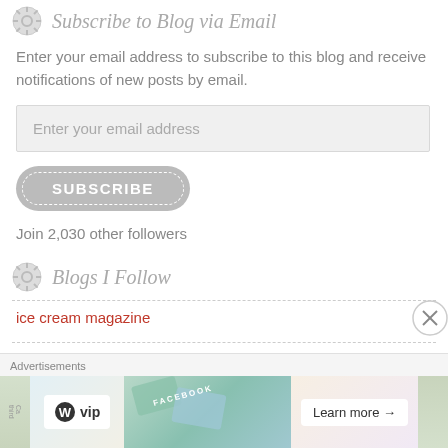Subscribe to Blog via Email
Enter your email address to subscribe to this blog and receive notifications of new posts by email.
Enter your email address
SUBSCRIBE
Join 2,030 other followers
Blogs I Follow
ice cream magazine
The Devotion Cafe!
Advertisements
[Figure (screenshot): Advertisement banner showing WordPress VIP logo and a Learn more button with colorful imagery]